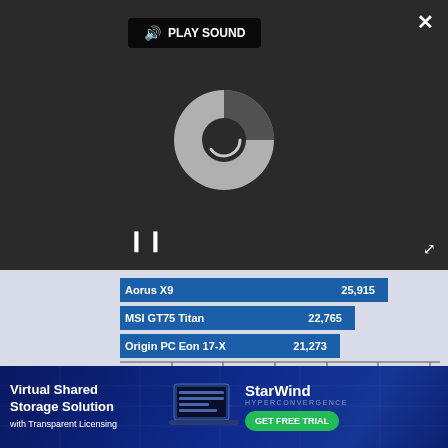[Figure (screenshot): Video player overlay with dark background, PLAY SOUND button, loading spinner (circular icon), pause button (||), close (X) button top-right, and expand icon bottom-right]
[Figure (bar-chart): Bar chart comparing laptop scores]
MORE: Alienware Area-51m - Full Review
[Figure (other): Advertisement placeholder box with light gray background]
[Figure (infographic): StarWind Hyperconvergence banner ad: Virtual Shared Storage Solution with Transparent Licensing, GET FREE TRIAL button, laptop image]